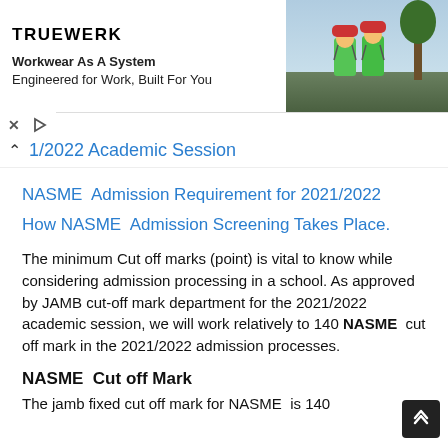[Figure (photo): Advertisement banner for TRUEWERK workwear brand showing two workers in green high-visibility gear outdoors. Text reads: Workwear As A System, Engineered for Work, Built For You]
1/2022 Academic Session
NASME  Admission Requirement for 2021/2022
How NASME  Admission Screening Takes Place.
The minimum Cut off marks (point) is vital to know while considering admission processing in a school. As approved by JAMB cut-off mark department for the 2021/2022 academic session, we will work relatively to 140 NASME  cut off mark in the 2021/2022 admission processes.
NASME  Cut off Mark
The jamb fixed cut off mark for NASME  is 140